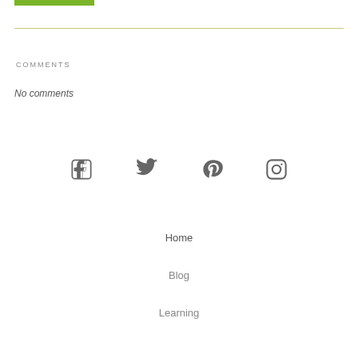[Figure (other): Green horizontal bar at top left]
COMMENTS
No comments
[Figure (infographic): Social media icons: Facebook, Twitter, Pinterest, Instagram]
Home
Blog
Learning